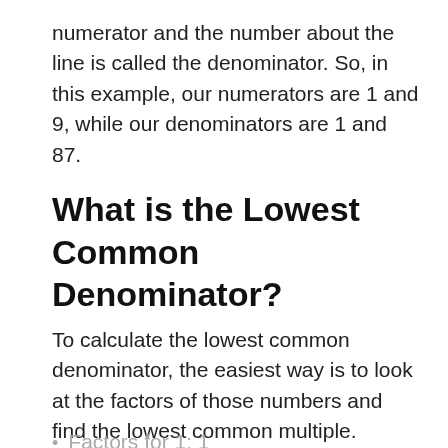numerator and the number about the line is called the denominator. So, in this example, our numerators are 1 and 9, while our denominators are 1 and 87.
What is the Lowest Common Denominator?
To calculate the lowest common denominator, the easiest way is to look at the factors of those numbers and find the lowest common multiple. Here's how that looks for 1 and 87:
Factors for 1: 1